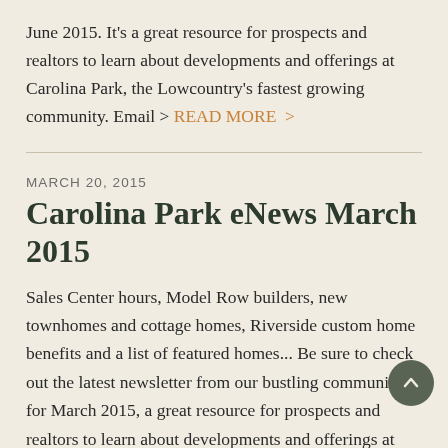June 2015. It's a great resource for prospects and realtors to learn about developments and offerings at Carolina Park, the Lowcountry's fastest growing community. Email > READ MORE >
MARCH 20, 2015
Carolina Park eNews March 2015
Sales Center hours, Model Row builders, new townhomes and cottage homes, Riverside custom home benefits and a list of featured homes... Be sure to check out the latest newsletter from our bustling community for March 2015, a great resource for prospects and realtors to learn about developments and offerings at Carolina Park, the